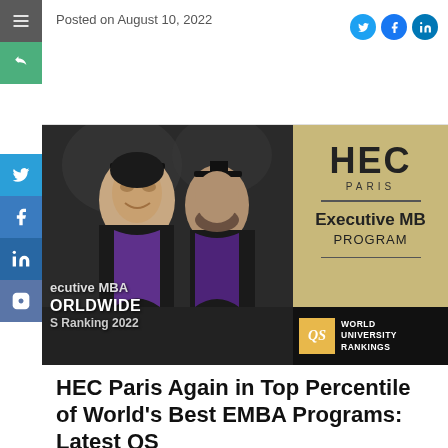Posted on August 10, 2022
[Figure (photo): HEC Paris Executive MBA promotional image showing two graduates in black robes and purple stoles smiling, with HEC Paris Executive MBA Program branding and QS World University Rankings badge]
HEC Paris Again in Top Percentile of World's Best EMBA Programs: Latest QS